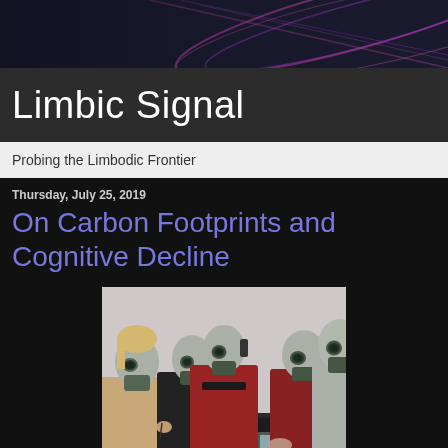[Figure (illustration): Abstract colored light streaks banner header background with purple and pink lines on dark background]
Limbic Signal
Probing the Limbodic Frontier
Thursday, July 25, 2019
On Carbon Footprints and Cognitive Decline
[Figure (photo): Four people sitting around a conference table, all wearing grey gas masks. One person in a red sweater is talking on a phone. Others are looking at papers on the table. A calculator is visible on the table.]